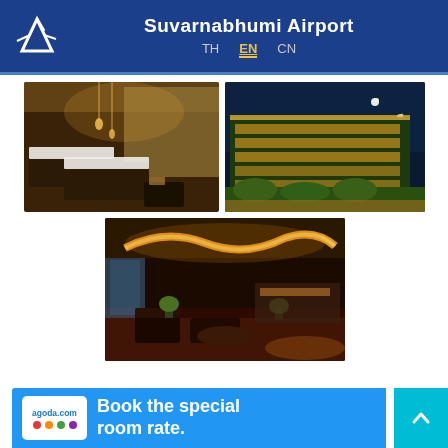Suvarnabhumi Airport — TH EN CN
[Figure (photo): Hotel room interior with warm lighting and two beds with white linens]
[Figure (photo): Hotel exterior at night with yellow lights on facade and landscaping]
[Figure (photo): Hotel lobby/lounge area with golden ceiling lights and seating area]
Book the special room rate.
[Figure (logo): agoda.com logo with colored dots]